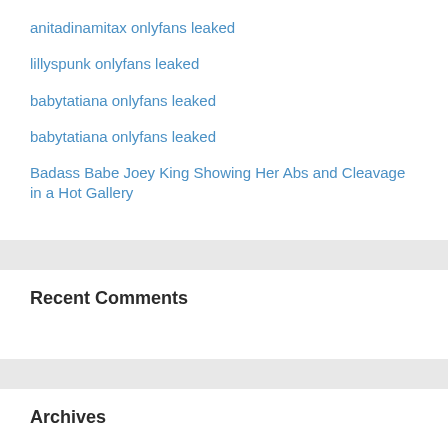anitadinamitax onlyfans leaked
lillyspunk onlyfans leaked
babytatiana onlyfans leaked
babytatiana onlyfans leaked
Badass Babe Joey King Showing Her Abs and Cleavage in a Hot Gallery
Recent Comments
Archives